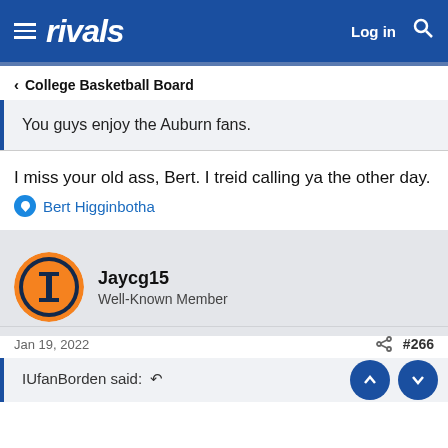rivals | Log in
College Basketball Board
You guys enjoy the Auburn fans.
I miss your old ass, Bert. I treid calling ya the other day.
Bert Higginbotha
Jaycg15
Well-Known Member
Jan 19, 2022  #266
IUfanBorden said: